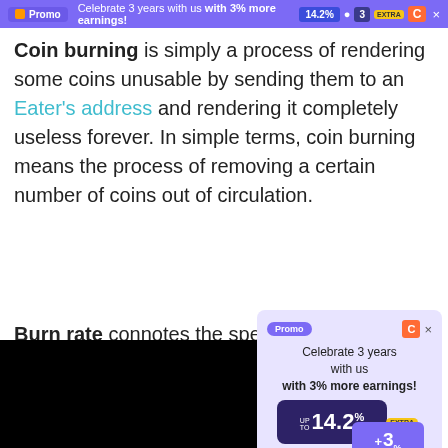Promo — Celebrate 3 years with us with 3% more earnings! 14.2% • 3 EXTRA C ×
Coin burning is simply a process of rendering some coins unusable by sending them to an Eater's address and rendering it completely useless forever. In simple terms, coin burning means the process of removing a certain number of coins out of circulation.
Burn rate connotes the speed coins are sent out of use to [control/] reduce hoarding and inflation.
[Figure (screenshot): Promotional popup advertisement for Haru platform. Shows 'Promo' pill badge, CoinGecko C icon with X close button, tagline 'Celebrate 3 years with us with 3% more earnings!', two dark cards showing 'UP TO 14.2%' and '+ 3%' rates with EXTRA badge, and 'haru' branding at bottom.]
[Figure (photo): Dark/black image area at the bottom left of the page, appears to be a partially visible media content or video thumbnail.]